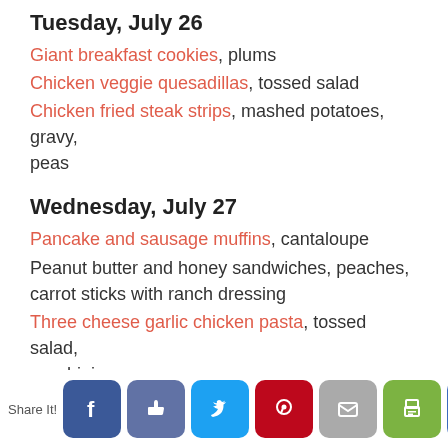Tuesday, July 26
Giant breakfast cookies, plums
Chicken veggie quesadillas, tossed salad
Chicken fried steak strips, mashed potatoes, gravy, peas
Wednesday, July 27
Pancake and sausage muffins, cantaloupe
Peanut butter and honey sandwiches, peaches, carrot sticks with ranch dressing
Three cheese garlic chicken pasta, tossed salad, zucchini
Thursday, July 28
Share It!